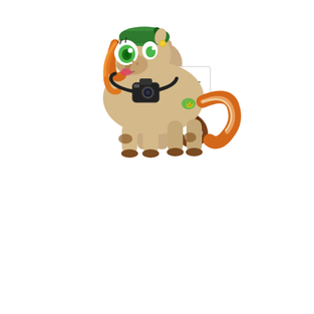[Figure (illustration): Cartoon pony character (tan/brown colored, with a braided tail, blue eyes) sitting upright and holding a handwritten note that reads: 'Batl couldn't make it so he sent me!']
[Figure (illustration): Cartoon pony character (tan/cream colored with orange mane and tail, green eyes, green newsboy cap, camera around neck, brown spots on legs) standing in a standard four-legged pose]